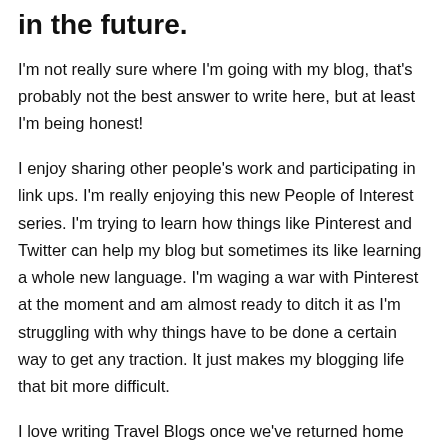in the future.
I'm not really sure where I'm going with my blog, that's probably not the best answer to write here, but at least I'm being honest!
I enjoy sharing other people's work and participating in link ups.  I'm really enjoying this new People of Interest series.  I'm trying to learn how things like Pinterest and Twitter can help my blog but sometimes its like learning a whole new language.  I'm waging a war with Pinterest at the moment and am almost ready to ditch it as I'm struggling with why things have to be done a certain way to get any traction.  It just makes my blogging life that bit more difficult.
I love writing Travel Blogs once we've returned home from our travels but apart from that I'll continue learning and improving as time goes on.  I'm also enjoying improving (I